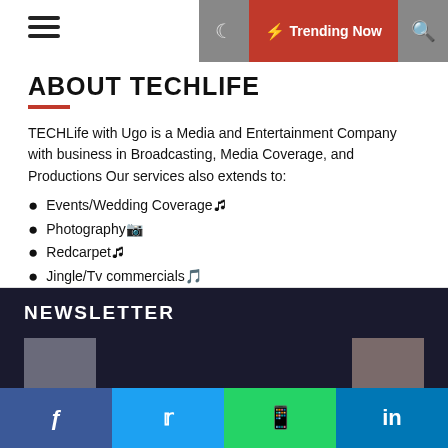Trending Now
ABOUT TECHLIFE
TECHLife with Ugo is a Media and Entertainment Company with business in Broadcasting, Media Coverage, and Productions Our services also extends to:
Events/Wedding Coverage🎬
Photography📷
Redcarpet🎬
Jingle/Tv commercials🎵
Interviews🎙
Documentary⚙
Online and Tv Sponsored Ads🎬
NEWSLETTER